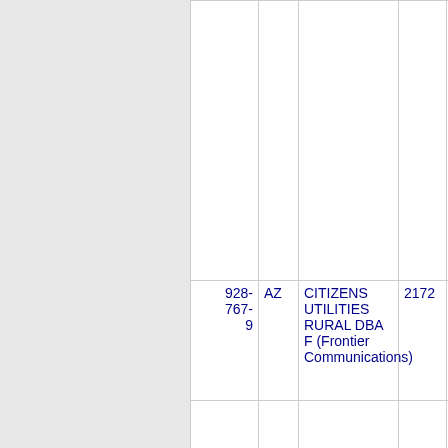| Phone | State | Company Name | Num | Extra |
| --- | --- | --- | --- | --- |
| 928-767-9 | AZ | CITIZENS UTILITIES RURAL DBA F (Frontier Communications) | 2172 | LKME... |